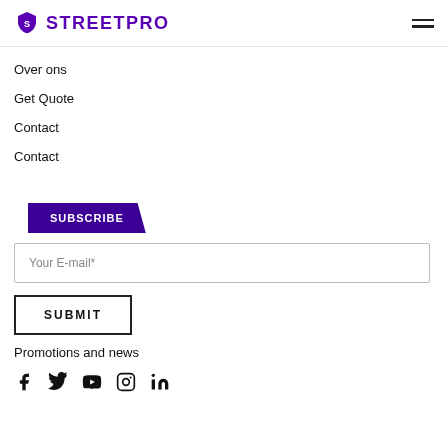STREETPRO
Over ons
Get Quote
Contact
Contact
SUBSCRIBE
Your E-mail*
SUBMIT
Promotions and news